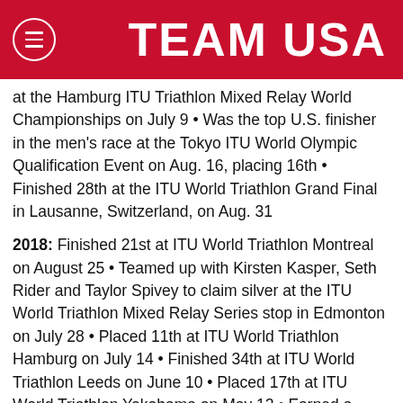TEAM USA
at the Hamburg ITU Triathlon Mixed Relay World Championships on July 9 • Was the top U.S. finisher in the men's race at the Tokyo ITU World Olympic Qualification Event on Aug. 16, placing 16th • Finished 28th at the ITU World Triathlon Grand Final in Lausanne, Switzerland, on Aug. 31
2018: Finished 21st at ITU World Triathlon Montreal on August 25 • Teamed up with Kirsten Kasper, Seth Rider and Taylor Spivey to claim silver at the ITU World Triathlon Mixed Relay Series stop in Edmonton on July 28 • Placed 11th at ITU World Triathlon Hamburg on July 14 • Finished 34th at ITU World Triathlon Leeds on June 10 • Placed 17th at ITU World Triathlon Yokohama on May 12 • Earned a silver medal at the Mooloolaba ITU Triathlon World Cup on March 10 and another silver at the